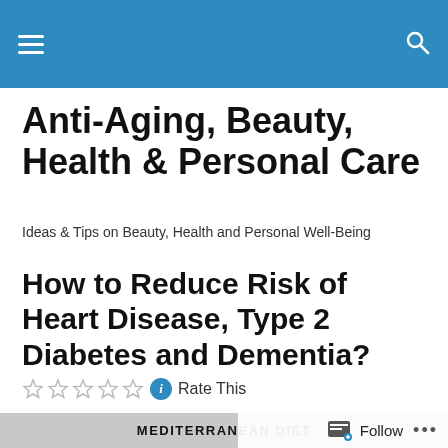Anti-Aging, Beauty, Health & Personal Care [site navigation header with hamburger menu and search icon]
Anti-Aging, Beauty, Health & Personal Care
Ideas & Tips on Beauty, Health and Personal Well-Being
How to Reduce Risk of Heart Disease, Type 2 Diabetes and Dementia?
Rate This
[Figure (photo): MEDITERRANEAN DIET banner image, partially visible at bottom of page]